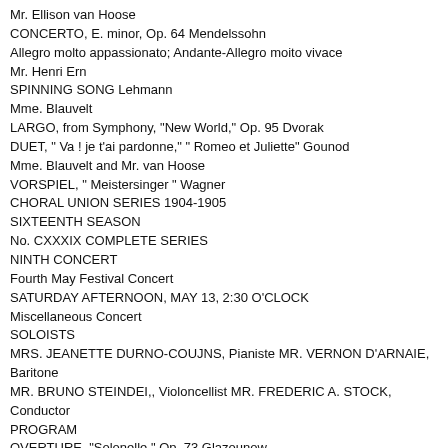Mr. Ellison van Hoose
CONCERTO, E. minor, Op. 64 Mendelssohn
Allegro molto appassionato; Andante-Allegro moito vivace
Mr. Henri Ern
SPINNING SONG Lehmann
Mme. Blauvelt
LARGO, from Symphony, "New World," Op. 95 Dvorak
DUET, " Va ! je t'ai pardonne," " Romeo et Juliette" Gounod
Mme. Blauvelt and Mr. van Hoose
VORSPIEL, " Meistersinger " Wagner
CHORAL UNION SERIES 1904-1905
SIXTEENTH SEASON
No. CXXXIX COMPLETE SERIES
NINTH CONCERT
Fourth May Festival Concert
SATURDAY AFTERNOON, MAY 13, 2:30 O'CLOCK
Miscellaneous Concert
SOLOISTS
MRS. JEANETTE DURNO-COUJNS, Pianiste MR. VERNON D'ARNAIE, Baritone
MR. BRUNO STEINDEI,, Violoncellist MR. FREDERIC A. STOCK, Conductor
PROGRAM
OVERTURE, "Solonelle," Op. 73 Glazounow